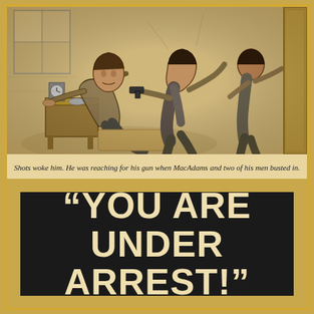[Figure (illustration): Pencil-style illustration of a man sitting on a bed reaching toward a nightstand with a clock and gun, while three men (MacAdams and two of his men) burst through the door behind him, one holding a gun.]
Shots woke him. He was reaching for his gun when MacAdams and two of his men busted in.
"YOU ARE UNDER ARREST!"